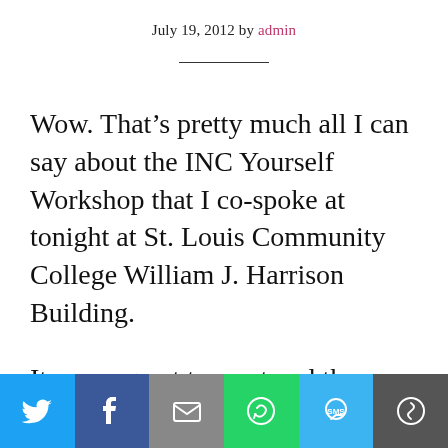July 19, 2012 by admin
Wow. That’s pretty much all I can say about the INC Yourself Workshop that I co-spoke at tonight at St. Louis Community College William J. Harrison Building.
It was a great turnout and the crowd was amazing. And my co-speakers? Fabulous!
[Figure (infographic): Social sharing bar with icons for Twitter, Facebook, Email, WhatsApp, SMS, and More]